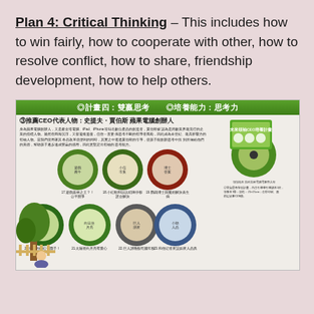Plan 4: Critical Thinking – This includes how to win fairly, how to cooperate with other, how to resolve conflict, how to share, friendship development, how to help others.
[Figure (illustration): A Chinese-language educational booklet page showing Plan 4: Critical Thinking (計畫四：雙贏思考, 培養能力：思考力). Features a recommended CEO figure Steve Jobs, cartoon book covers with DVD discs for a children's educational series, arranged in two rows with Chinese captions.]